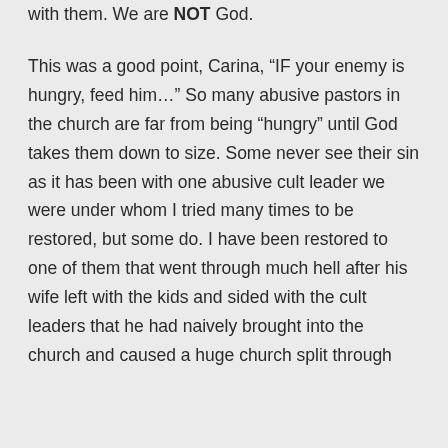with them. We are NOT God.
This was a good point, Carina, “IF your enemy is hungry, feed him…” So many abusive pastors in the church are far from being “hungry” until God takes them down to size. Some never see their sin as it has been with one abusive cult leader we were under whom I tried many times to be restored, but some do. I have been restored to one of them that went through much hell after his wife left with the kids and sided with the cult leaders that he had naively brought into the church and caused a huge church split through